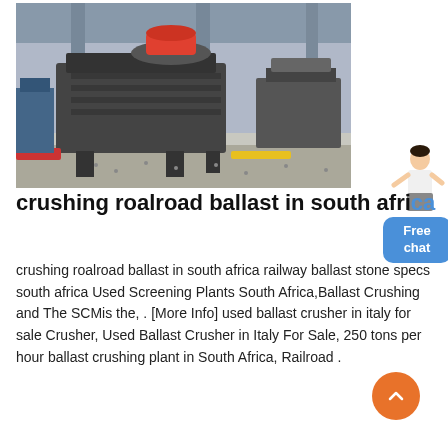[Figure (photo): Industrial crushing/screening machinery on a factory floor with gravel, columns in background]
crushing roalroad ballast in south africa
crushing roalroad ballast in south africa railway ballast stone specs south africa Used Screening Plants South Africa,Ballast Crushing and The SCMis the, . [More Info] used ballast crusher in italy for sale Crusher, Used Ballast Crusher in Italy For Sale, 250 tons per hour ballast crushing plant in South Africa, Railroad .